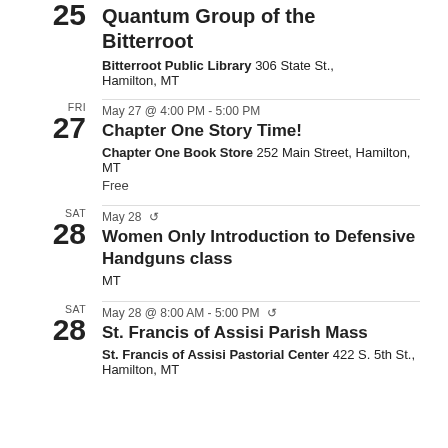25 Quantum Group of the Bitterroot — Bitterroot Public Library 306 State St., Hamilton, MT
FRI 27 May 27 @ 4:00 PM - 5:00 PM — Chapter One Story Time! — Chapter One Book Store 252 Main Street, Hamilton, MT — Free
SAT 28 May 28 (recurring) — Women Only Introduction to Defensive Handguns class — MT
SAT 28 May 28 @ 8:00 AM - 5:00 PM (recurring) — St. Francis of Assisi Parish Mass — St. Francis of Assisi Pastorial Center 422 S. 5th St., Hamilton, MT